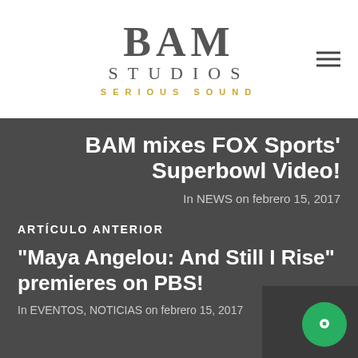[Figure (logo): BAM Studios logo with tagline SERIOUS SOUND in gold]
BAM mixes FOX Sports' Superbowl Video!
In NEWS on febrero 15, 2017
ARTÍCULO ANTERIOR
"Maya Angelou: And Still I Rise" premieres on PBS!
In EVENTOS, NOTICIAS on febrero 15, 2017